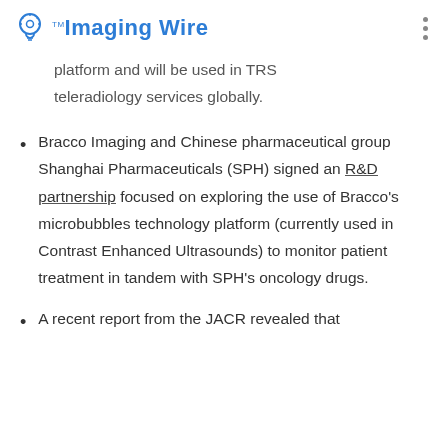The Imaging Wire
platform and will be used in TRS teleradiology services globally.
Bracco Imaging and Chinese pharmaceutical group Shanghai Pharmaceuticals (SPH) signed an R&D partnership focused on exploring the use of Bracco's microbubbles technology platform (currently used in Contrast Enhanced Ultrasounds) to monitor patient treatment in tandem with SPH's oncology drugs.
A recent report from the JACR revealed that